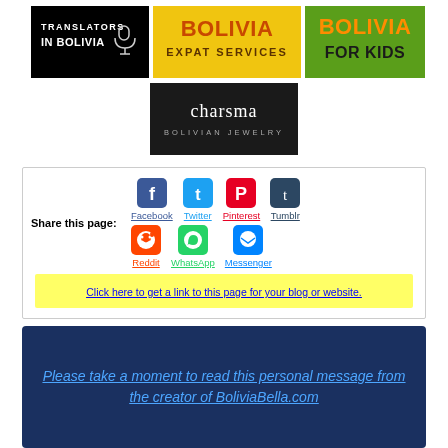[Figure (logo): Translators in Bolivia logo - black background with white text and microphone icon]
[Figure (logo): Bolivia Expat Services logo - yellow/gold background with orange and brown text]
[Figure (logo): Bolivia For Kids logo - green background with orange and black bold text]
[Figure (logo): Charisma Bolivian Jewelry logo - dark/black background with white text]
Share this page:
Facebook Twitter Pinterest Tumblr Reddit WhatsApp Messenger
Click here to get a link to this page for your blog or website.
Please take a moment to read this personal message from the creator of BoliviaBella.com